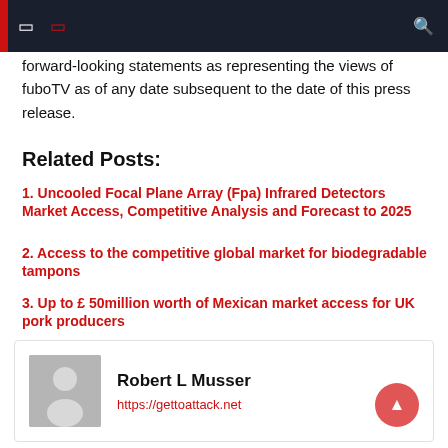forward-looking statements as representing the views of fuboTV as of any date subsequent to the date of this press release.
Related Posts:
Uncooled Focal Plane Array (Fpa) Infrared Detectors Market Access, Competitive Analysis and Forecast to 2025
Access to the competitive global market for biodegradable tampons
Up to £ 50million worth of Mexican market access for UK pork producers
Access to the pilgrim market is growing exponentially
[Figure (photo): Author avatar placeholder with user silhouette icon]
Robert L Musser
https://gettoattack.net